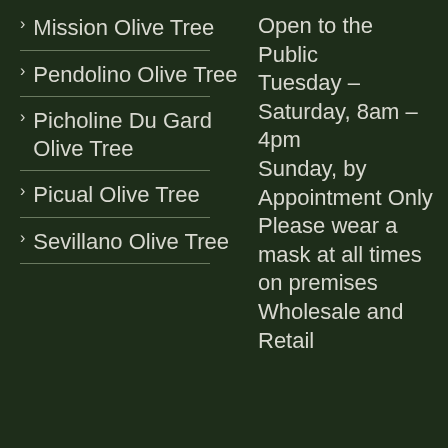Mission Olive Tree
Pendolino Olive Tree
Picholine Du Gard Olive Tree
Picual Olive Tree
Sevillano Olive Tree
Open to the Public
Tuesday – Saturday, 8am – 4pm
Sunday, by Appointment Only
Please wear a mask at all times on premises
Wholesale and Retail